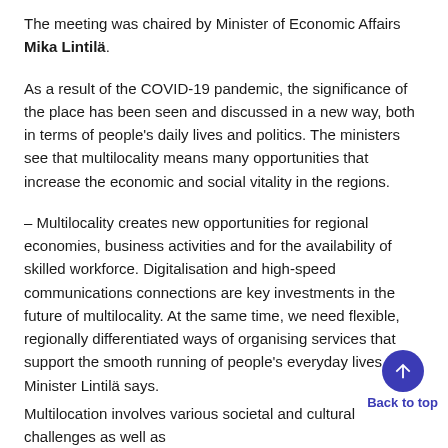The meeting was chaired by Minister of Economic Affairs Mika Lintilä.
As a result of the COVID-19 pandemic, the significance of the place has been seen and discussed in a new way, both in terms of people's daily lives and politics. The ministers see that multilocality means many opportunities that increase the economic and social vitality in the regions.
– Multilocality creates new opportunities for regional economies, business activities and for the availability of skilled workforce. Digitalisation and high-speed communications connections are key investments in the future of multilocality. At the same time, we need flexible, regionally differentiated ways of organising services that support the smooth running of people's everyday lives, Minister Lintilä says.
Multilocation involves various societal and cultural challenges as well as